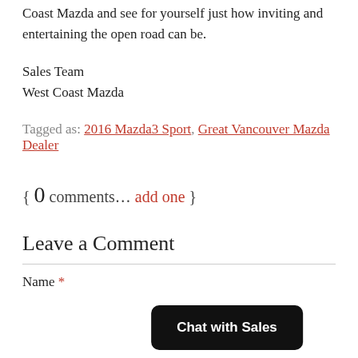Coast Mazda and see for yourself just how inviting and entertaining the open road can be.
Sales Team
West Coast Mazda
Tagged as: 2016 Mazda3 Sport, Great Vancouver Mazda Dealer
{ 0 comments… add one }
Leave a Comment
Name *